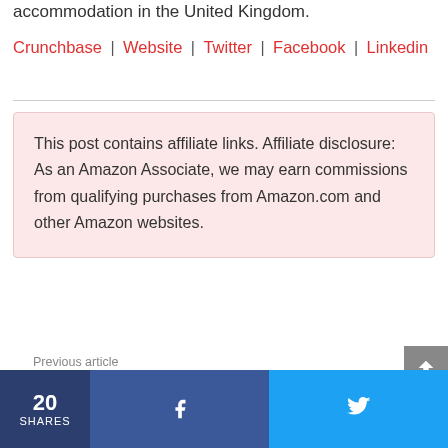accommodation in the United Kingdom.
Crunchbase | Website | Twitter | Facebook | Linkedin
This post contains affiliate links. Affiliate disclosure: As an Amazon Associate, we may earn commissions from qualifying purchases from Amazon.com and other Amazon websites.
Previous article
← Top 3D Printing Companies and